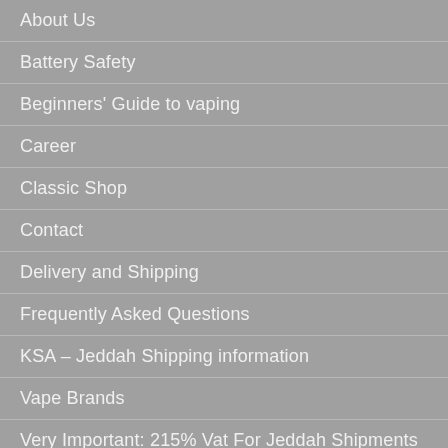About Us
Battery Safety
Beginners' Guide to vaping
Career
Classic Shop
Contact
Delivery and Shipping
Frequently Asked Questions
KSA – Jeddah Shipping information
Vape Brands
Very Important: 215% Vat For Jeddah Shipments
Weekly Promotions